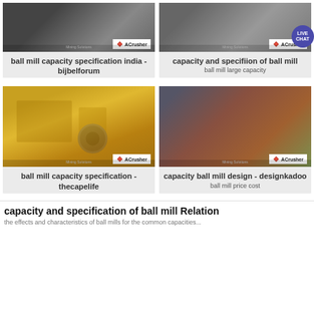[Figure (photo): ACrusher branded photo of industrial equipment - top left card]
ball mill capacity specification india - bijbelforum
[Figure (photo): ACrusher branded photo of crushed stone - top right card]
capacity and specifiion of ball mill
ball mill large capacity
[Figure (photo): ACrusher branded photo of yellow ball mill machinery - bottom left card]
ball mill capacity specification - thecapelife
[Figure (photo): ACrusher branded photo of industrial crusher equipment - bottom right card]
capacity ball mill design - designkadoo
ball mill price cost
capacity and specification of ball mill Relation